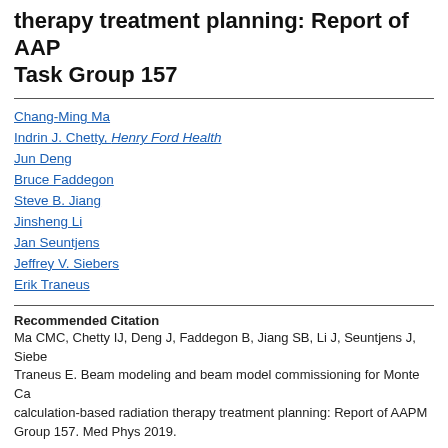therapy treatment planning: Report of AAPM Task Group 157
Chang-Ming Ma
Indrin J. Chetty, Henry Ford Health
Jun Deng
Bruce Faddegon
Steve B. Jiang
Jinsheng Li
Jan Seuntjens
Jeffrey V. Siebers
Erik Traneus
Recommended Citation
Ma CMC, Chetty IJ, Deng J, Faddegon B, Jiang SB, Li J, Seuntjens J, Siebers... Traneus E. Beam modeling and beam model commissioning for Monte Carlo calculation-based radiation therapy treatment planning: Report of AAPM Task Group 157. Med Phys 2019.
Document Type
Article
Publication Date
11-2-2019